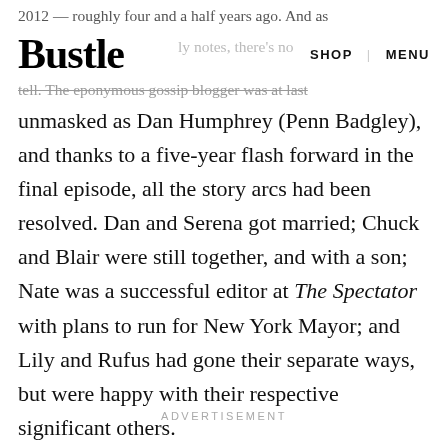Bustle   SHOP | MENU
2012 — roughly four and a half years ago. And as Bustle ly notes, there's not much to tell. The eponymous gossip blogger was at last unmasked as Dan Humphrey (Penn Badgley), and thanks to a five-year flash forward in the final episode, all the story arcs had been resolved. Dan and Serena got married; Chuck and Blair were still together, and with a son; Nate was a successful editor at The Spectator with plans to run for New York Mayor; and Lily and Rufus had gone their separate ways, but were happy with their respective significant others.
ADVERTISEMENT